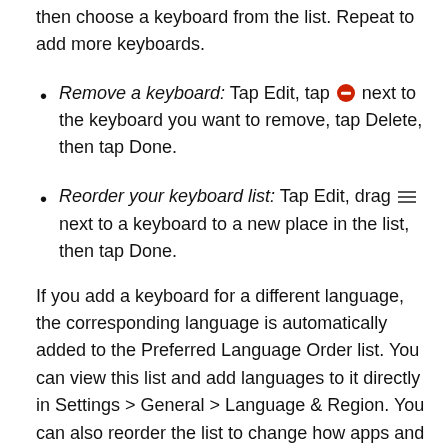then choose a keyboard from the list. Repeat to add more keyboards.
Remove a keyboard: Tap Edit, tap [minus icon] next to the keyboard you want to remove, tap Delete, then tap Done.
Reorder your keyboard list: Tap Edit, drag [reorder icon] next to a keyboard to a new place in the list, then tap Done.
If you add a keyboard for a different language, the corresponding language is automatically added to the Preferred Language Order list. You can view this list and add languages to it directly in Settings > General > Language & Region. You can also reorder the list to change how apps and websites display text.